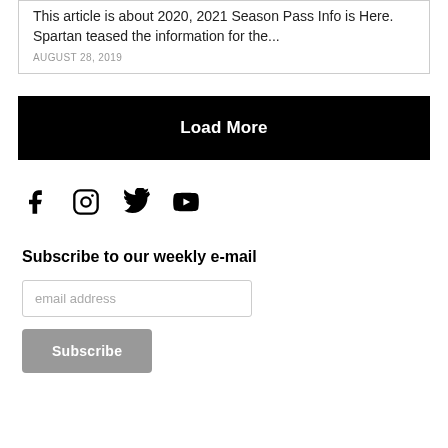This article is about 2020, 2021 Season Pass Info is Here. Spartan teased the information for the...
AUGUST 28, 2019
Load More
[Figure (other): Social media icons: Facebook, Instagram, Twitter, YouTube]
Subscribe to our weekly e-mail
email address
Subscribe